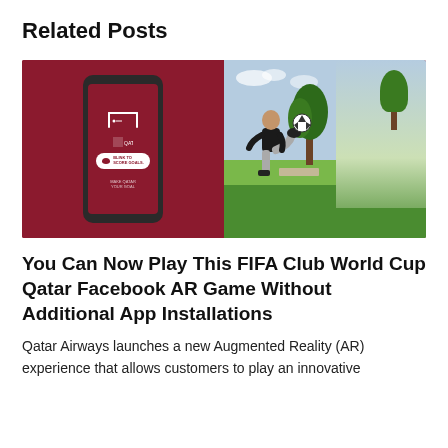Related Posts
[Figure (photo): Split image: left side shows a smartphone with a crimson/maroon screen displaying a football goal AR interface with text 'BLINK TO SCORE GOALS.' and 'MAKE QATAR YOUR GOAL'; right side shows a man kicking a soccer ball outdoors on a grassy field with trees in the background.]
You Can Now Play This FIFA Club World Cup Qatar Facebook AR Game Without Additional App Installations
Qatar Airways launches a new Augmented Reality (AR) experience that allows customers to play an innovative football...